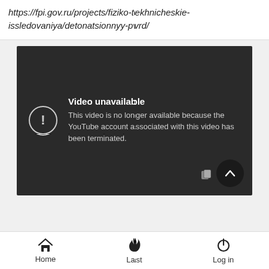https://fpi.gov.ru/projects/fiziko-tekhnicheskie-issledovaniya/detonatsionnyy-pvrd/
[Figure (screenshot): YouTube video unavailable screen on dark background. Shows a circle with exclamation mark icon and text: 'Video unavailable. This video is no longer available because the YouTube account associated with this video has been terminated.']
Home   Last   Log in